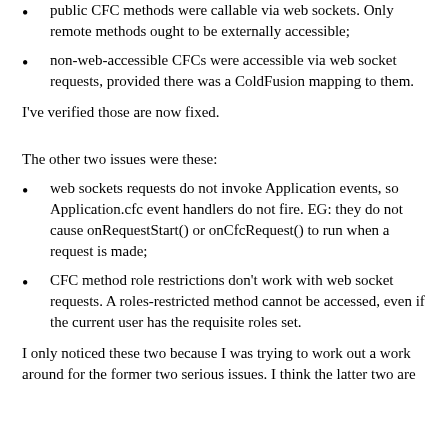public CFC methods were callable via web sockets. Only remote methods ought to be externally accessible;
non-web-accessible CFCs were accessible via web socket requests, provided there was a ColdFusion mapping to them.
I've verified those are now fixed.
The other two issues were these:
web sockets requests do not invoke Application events, so Application.cfc event handlers do not fire. EG: they do not cause onRequestStart() or onCfcRequest() to run when a request is made;
CFC method role restrictions don't work with web socket requests. A roles-restricted method cannot be accessed, even if the current user has the requisite roles set.
I only noticed these two because I was trying to work out a work around for the former two serious issues. I think the latter two are